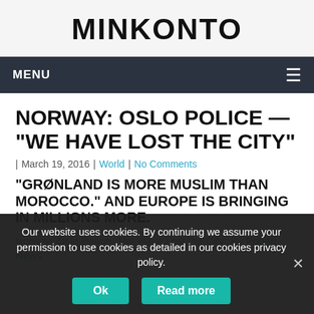MINKONTO
MENU
NORWAY: OSLO POLICE — “WE HAVE LOST THE CITY”
| March 19, 2016 | World | No Comments
“GRØNLAND IS MORE MUSLIM THAN MOROCCO.” AND EUROPE IS BRINGING IN MILLIONS MORE.
Norway: Oslo Police: “We Have Lost the City” By Pogari News
Our website uses cookies. By continuing we assume your permission to use cookies as detailed in our cookies privacy policy.
Ok   Read more